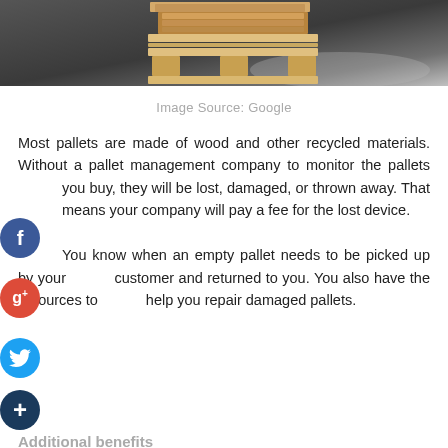[Figure (photo): A wooden pallet with stacked wood blocks photographed on a dark concrete floor, cropped to show bottom portion of image]
Image Source: Google
Most pallets are made of wood and other recycled materials. Without a pallet management company to monitor the pallets you buy, they will be lost, damaged, or thrown away. That means your company will pay a fee for the lost device.

You know when an empty pallet needs to be picked up by your customer and returned to you. You also have the resources to help you repair damaged pallets.
Additional benefits